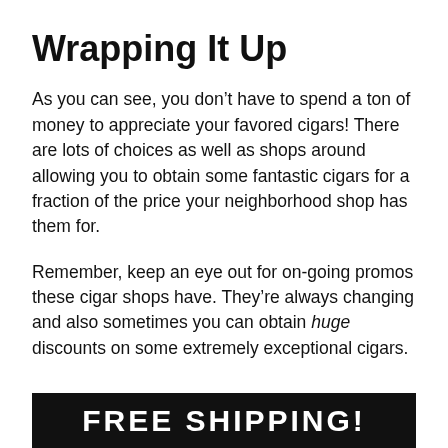Wrapping It Up
As you can see, you don’t have to spend a ton of money to appreciate your favored cigars! There are lots of choices as well as shops around allowing you to obtain some fantastic cigars for a fraction of the price your neighborhood shop has them for.
Remember, keep an eye out for on-going promos these cigar shops have. They’re always changing and also sometimes you can obtain huge discounts on some extremely exceptional cigars.
[Figure (photo): Dark banner image with bold white text reading FREE SHIPPING! (partially visible at bottom of page)]